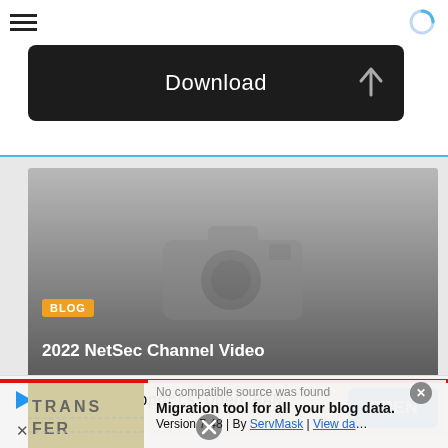[Figure (screenshot): Mobile app screenshot showing a Download button bar with hamburger menu and spinner icon at top, a blog card thumbnail with camera placeholder, BLOG tag and '2022 NetSec Channel Video' title, overlapping popup with 'No compatible source was found', 'Migration tool for all your blog data.', 'Version 7.48 | By ServMask | View data' text, a TRANSFER watermark image, and an ad banner at bottom reading 'Mavenir Supports Open RAN' with blue OPEN button]